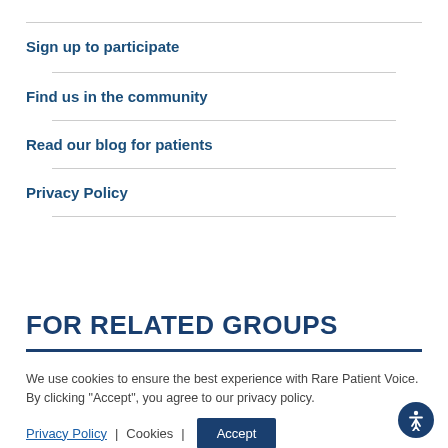Sign up to participate
Find us in the community
Read our blog for patients
Privacy Policy
FOR RELATED GROUPS
We use cookies to ensure the best experience with Rare Patient Voice. By clicking "Accept", you agree to our privacy policy.
Privacy Policy | Cookies | Accept